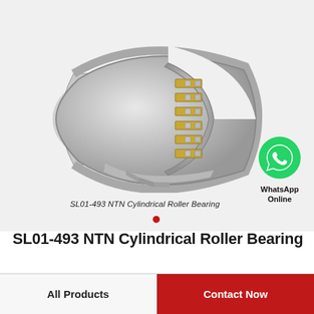[Figure (photo): SL01-493 NTN Cylindrical Roller Bearing — cross-sectional cutaway view showing outer ring, inner ring, cylindrical rollers with brass cage, on light gray background]
SL01-493 NTN Cylindrical Roller Bearing
[Figure (logo): WhatsApp green circle icon with phone handset, labeled 'WhatsApp Online']
SL01-493 NTN Cylindrical Roller Bearing
All Products
Contact Now